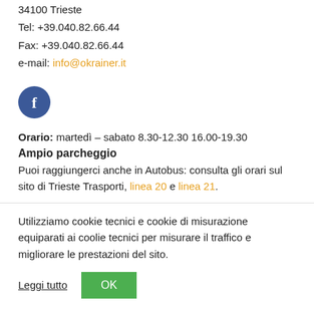34100 Trieste
Tel: +39.040.82.66.44
Fax: +39.040.82.66.44
e-mail: info@okrainer.it
[Figure (logo): Facebook logo icon — white 'f' on blue circle background]
Orario: martedì – sabato 8.30-12.30 16.00-19.30
Ampio parcheggio
Puoi raggiungerci anche in Autobus: consulta gli orari sul sito di Trieste Trasporti, linea 20 e linea 21.
Utilizziamo cookie tecnici e cookie di misurazione equiparati ai coolie tecnici per misurare il traffico e migliorare le prestazioni del sito.
Leggi tutto
OK